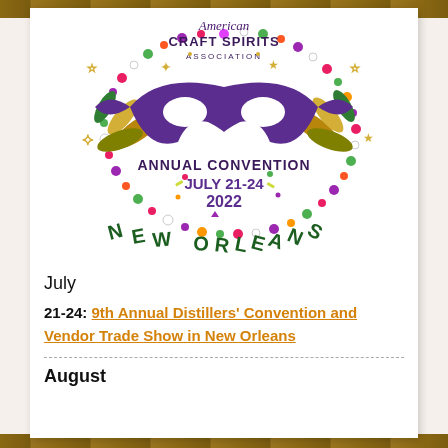[Figure (illustration): American Craft Spirits Association Annual Convention logo featuring a purple Mardi Gras masquerade mask surrounded by colorful Mardi Gras beads, gold stars, decorative leaves, and text reading 'American Craft Spirits Association Annual Convention July 21-24 2022 New Orleans'.]
July
21-24: 9th Annual Distillers' Convention and Vendor Trade Show in New Orleans
August